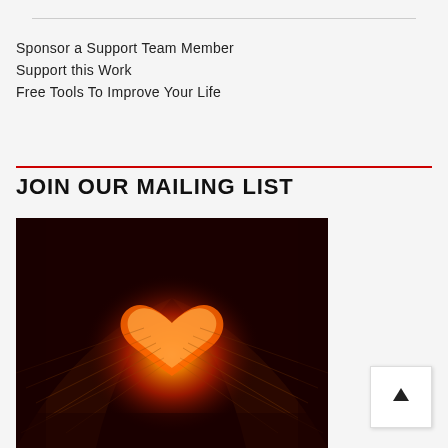Sponsor a Support Team Member
Support this Work
Free Tools To Improve Your Life
JOIN OUR MAILING LIST
[Figure (photo): A book with pages folded into the shape of a heart, glowing with warm red and orange light against a dark background.]